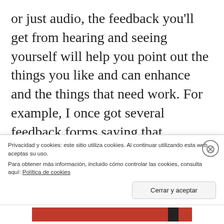or just audio, the feedback you'll get from hearing and seeing yourself will help you point out the things you like and can enhance and the things that need work. For example, I once got several feedback forms saying that sometimes I looked up too much. It wasn't until I saw myself in a recorded practice that I realized how that looked to the audience and I managed to change it. You will also see if you sound monotonous or too fast. If you are feeling
Privacidad y cookies: este sitio utiliza cookies. Al continuar utilizando esta web, aceptas su uso.
Para obtener más información, incluido cómo controlar las cookies, consulta aquí: Política de cookies
Cerrar y aceptar